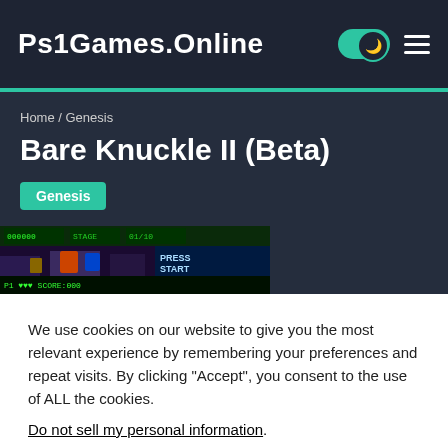Ps1Games.Online
Home / Genesis
Bare Knuckle II (Beta)
Genesis
[Figure (screenshot): Game screenshot of Bare Knuckle II (Beta) showing the title/press start screen]
We use cookies on our website to give you the most relevant experience by remembering your preferences and repeat visits. By clicking “Accept”, you consent to the use of ALL the cookies.
Do not sell my personal information.
Cookie settings
ACCEPT